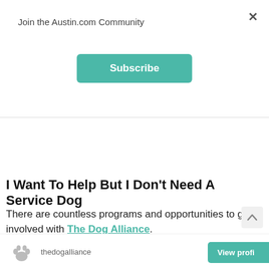Join the Austin.com Community
Subscribe
I Want To Help But I Don't Need A Service Dog
There are countless programs and opportunities to get involved with The Dog Alliance.
thedogalliance  View profi